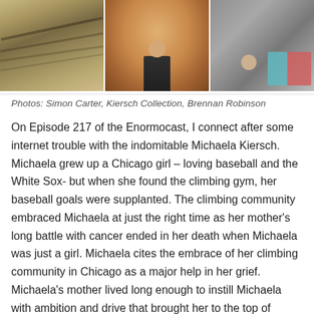[Figure (photo): Three side-by-side photos: left shows layered rock face with diagonal striations, center shows a person sitting inside a curved rock formation wearing dark clothes and white sneakers, right shows a child near rocks with colorful foam pads (pink, teal).]
Photos: Simon Carter, Kiersch Collection, Brennan Robinson
On Episode 217 of the Enormocast, I connect after some internet trouble with the indomitable Michaela Kiersch. Michaela grew up a Chicago girl – loving baseball and the White Sox- but when she found the climbing gym, her baseball goals were supplanted. The climbing community embraced Michaela at just the right time as her mother's long battle with cancer ended in her death when Michaela was just a girl. Michaela cites the embrace of her climbing community in Chicago as a major help in her grief. Michaela's mother lived long enough to instill Michaela with ambition and drive that brought her to the top of competition and sport climbing with national championships and multiple 5.14c ascents. Those same